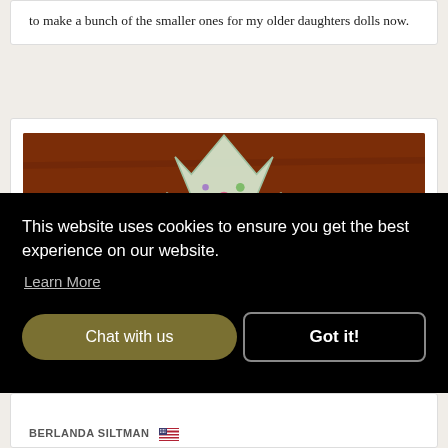to make a bunch of the smaller ones for my older daughters dolls now.
[Figure (photo): Floral fabric cut into leaf shapes laid out on a wooden surface, showing different sizes of the leaf pattern pieces]
This website uses cookies to ensure you get the best experience on our website.
Learn More
Chat with us
Got it!
BERLANDA SILTMAN 🇺🇸